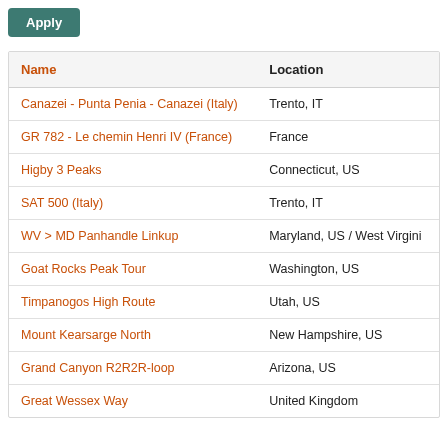Apply
| Name | Location |
| --- | --- |
| Canazei - Punta Penia - Canazei (Italy) | Trento, IT |
| GR 782 - Le chemin Henri IV (France) | France |
| Higby 3 Peaks | Connecticut, US |
| SAT 500 (Italy) | Trento, IT |
| WV > MD Panhandle Linkup | Maryland, US / West Virgini |
| Goat Rocks Peak Tour | Washington, US |
| Timpanogos High Route | Utah, US |
| Mount Kearsarge North | New Hampshire, US |
| Grand Canyon R2R2R-loop | Arizona, US |
| Great Wessex Way | United Kingdom |